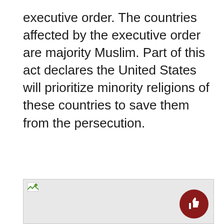executive order. The countries affected by the executive order are majority Muslim. Part of this act declares the United States will prioritize minority religions of these countries to save them from the persecution.
[Figure (other): A broken/missing image placeholder shown as a grey rectangle with a small image icon in the top-left corner and a thumbs-up button in the bottom-right corner.]